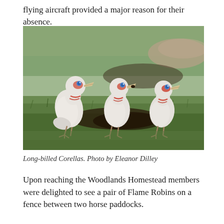flying aircraft provided a major reason for their absence.
[Figure (photo): Three Long-billed Corellas standing on grass. The birds are white with red and blue facial markings, photographed outdoors on a lawn.]
Long-billed Corellas. Photo by Eleanor Dilley
Upon reaching the Woodlands Homestead members were delighted to see a pair of Flame Robins on a fence between two horse paddocks.